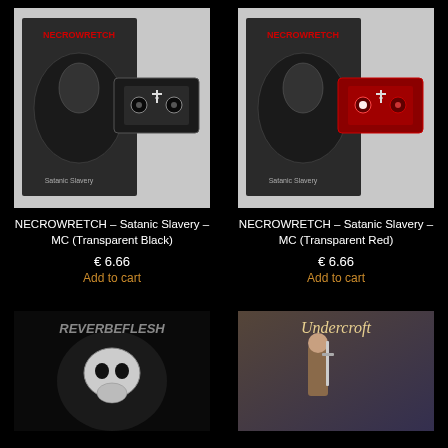[Figure (photo): Cassette tape product photo - NECROWRETCH Satanic Slavery MC, transparent black cassette with album art]
NECROWRETCH – Satanic Slavery – MC (Transparent Black)
€ 6.66
Add to cart
[Figure (photo): Cassette tape product photo - NECROWRETCH Satanic Slavery MC, transparent red cassette with album art]
NECROWRETCH – Satanic Slavery – MC (Transparent Red)
€ 6.66
Add to cart
[Figure (photo): Album art for Reverbeflesh - dark metal artwork with skull imagery]
[Figure (photo): Album art for Undercroft - fantasy style artwork with warrior figure]